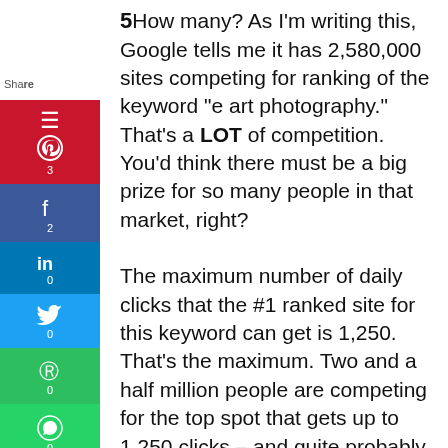[Figure (infographic): Vertical social sharing sidebar with buttons: Pinterest (3), Facebook (2), LinkedIn (0), Twitter (0), Evernote (0), WhatsApp (0), Telegram (0), Heart/Save (0)]
How many? As I'm writing this, Google tells me it has 2,580,000 sites competing for ranking of the keyword "e art photography." That's a LOT of competition. You'd think there must be a big prize for so many people in that market, right?

The maximum number of daily clicks that the #1 ranked site for this keyword can get is 1,250. That's the maximum. Two and a half million people are competing for the top spot that gets up to 1,250 clicks – and quite probably fewer. Of those clicks, how many will actually buy something, or even click on an advertisement? One percent? Two or three percent? Well, that depends on what you have to offer and how well you can convert those eyes into customers.